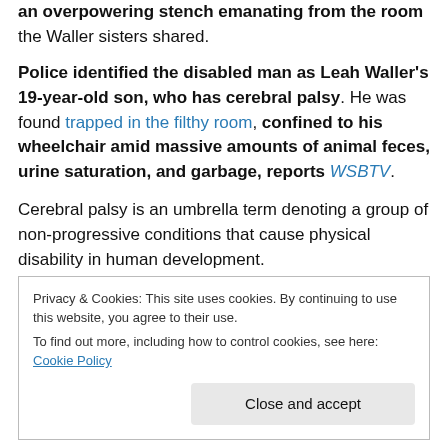an overpowering stench emanating from the room the Waller sisters shared.
Police identified the disabled man as Leah Waller's 19-year-old son, who has cerebral palsy. He was found trapped in the filthy room, confined to his wheelchair amid massive amounts of animal feces, urine saturation, and garbage, reports WSBTV.
Cerebral palsy is an umbrella term denoting a group of non-progressive conditions that cause physical disability in human development.
Privacy & Cookies: This site uses cookies. By continuing to use this website, you agree to their use. To find out more, including how to control cookies, see here: Cookie Policy